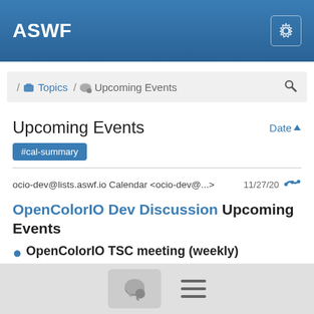ASWF
/ Topics / Upcoming Events
Upcoming Events
#cal-summary
ocio-dev@lists.aswf.io Calendar <ocio-dev@...>  11/27/20
OpenColorIO Dev Discussion Upcoming Events
OpenColorIO TSC meeting (weekly)
When:
Monday, 30 November 2020, 12:00pm to 1:00pm